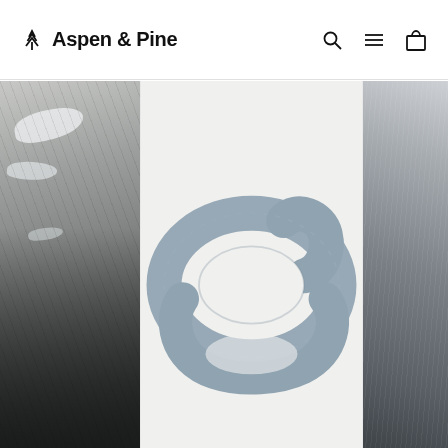Aspen & Pine — navigation header with logo, search, menu, and cart icons
[Figure (photo): Three-column product grid. Left column: outdoor mountain/rocky snowy landscape in dark tones. Center column: light grey background with a blue-grey knit infinity loop scarf product shot. Right column: partial view of a dark grey garment or accessory product.]